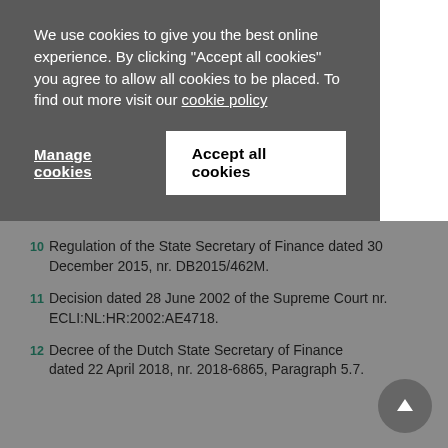We use cookies to give you the best online experience. By clicking "Accept all cookies" you agree to allow all cookies to be placed. To find out more visit our cookie policy
Manage cookies
Accept all cookies
10 Regulation of the State Secretary of Finance dated 30 December 2015, nr. DB2015/462M.
11 Decision dated 28 June 2002 of the Supreme Court nr. ECLI:NL:HR:2002:AE4718.
12 Decree of the Dutch State Secretary of Finance dated 22 April 2018, nr. 2018-6865, Paragraph 5.7.